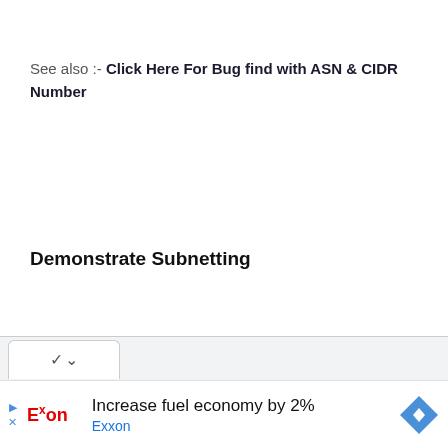See also :- Click Here For Bug find with ASN & CIDR Number
Demonstrate Subnetting
[Figure (screenshot): Browser tab bar with a chevron/down arrow button on white background]
[Figure (infographic): Exxon advertisement banner: Exxon logo, text 'Increase fuel economy by 2%' and 'Exxon', navigation arrow diamond icon, play and close icons on left]